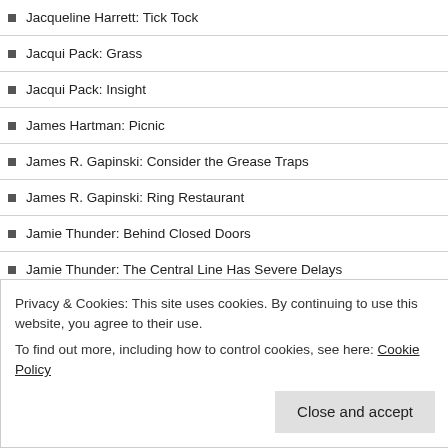Jacqueline Harrett: Tick Tock
Jacqui Pack: Grass
Jacqui Pack: Insight
James Hartman: Picnic
James R. Gapinski: Consider the Grease Traps
James R. Gapinski: Ring Restaurant
Jamie Thunder: Behind Closed Doors
Jamie Thunder: The Central Line Has Severe Delays
Jan Stinchcomb: Children of the Black Flower
Jane Copland: Viva
Jane Davis: The Fate of Circumstances
Privacy & Cookies: This site uses cookies. By continuing to use this website, you agree to their use. To find out more, including how to control cookies, see here: Cookie Policy